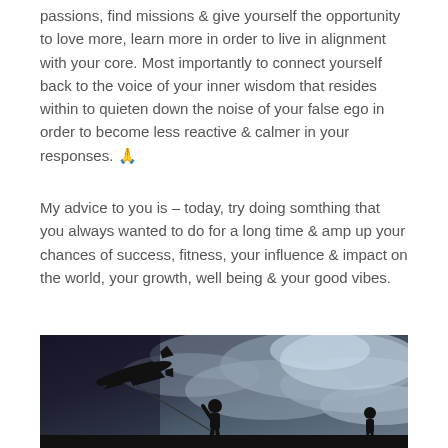passions, find missions & give yourself the opportunity to love more, learn more in order to live in alignment with your core. Most importantly to connect yourself back to the voice of your inner wisdom that resides within to quieten down the noise of your false ego in order to become less reactive & calmer in your responses. 🙏
My advice to you is – today, try doing somthing that you always wanted to do for a long time & amp up your chances of success, fitness, your influence & impact on the world, your growth, well being & your good vibes.
[Figure (photo): Black and white photograph of a child's silhouette flying a kite shaped like or alongside a large airplane silhouette against a dramatic cloudy sky. Another figure is visible at the bottom right.]